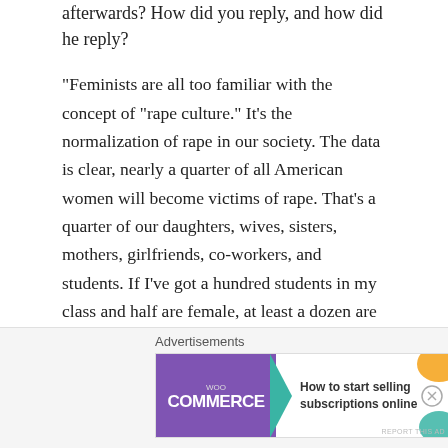afterwards? How did you reply, and how did he reply?
“Feminists are all too familiar with the concept of “rape culture.” It’s the normalization of rape in our society. The data is clear, nearly a quarter of all American women will become victims of rape. That’s a quarter of our daughters, wives, sisters, mothers, girlfriends, co-workers, and students. If I’ve got a hundred students in my class and half are female, at least a dozen are or will become rape victims. If you reading this and you’re female that’s not news to you. If you’re MALE, you might have done the raping or want to. Or just maybe you want to stop your fellow BOYS and MEN from raping. What BOYS and MEN
[Figure (other): WooCommerce advertisement banner: 'How to start selling subscriptions online']